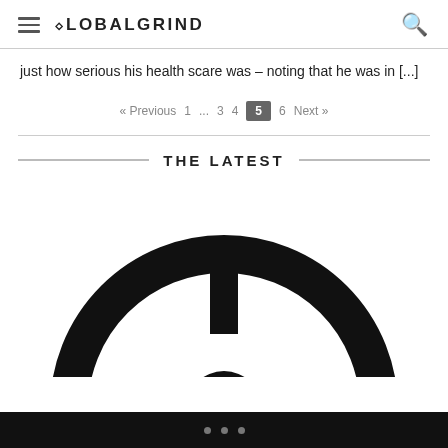GLOBALGRIND
just how serious his health scare was – noting that he was in [...]
« Previous  1  ...  3  4  5  6  Next »
THE LATEST
[Figure (photo): Close-up of a black steering wheel against a white background, partially cropped at the bottom of the frame.]